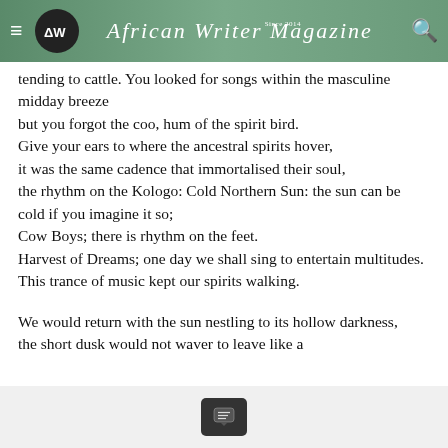African Writer Magazine — Since 2014
tending to cattle. You looked for songs within the masculine midday breeze
but you forgot the coo, hum of the spirit bird.
Give your ears to where the ancestral spirits hover,
it was the same cadence that immortalised their soul,
the rhythm on the Kologo: Cold Northern Sun: the sun can be cold if you imagine it so;
Cow Boys; there is rhythm on the feet.
Harvest of Dreams; one day we shall sing to entertain multitudes.
This trance of music kept our spirits walking.

We would return with the sun nestling to its hollow darkness,
the short dusk would not waver to leave like a